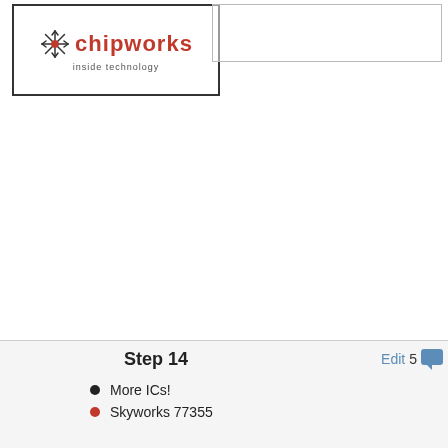[Figure (logo): Chipworks logo with snowflake icon and tagline 'inside technology', shown inside a bordered box with an overlapping lighter bordered rectangle]
Step 14
More ICs!
Skyworks 77355